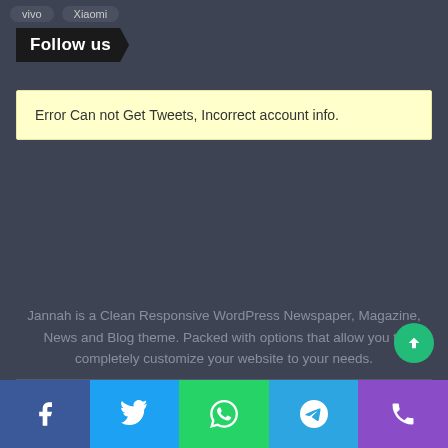Vivo
Xiaomi
Follow us
Error Can not Get Tweets, Incorrect account info.
Jannah is a Clean Responsive WordPress Newspaper, Magazine, News and Blog theme. Packed with options that allow you to completely customize your website to your needs.
Facebook, Twitter, WhatsApp, Telegram, Phone social share buttons